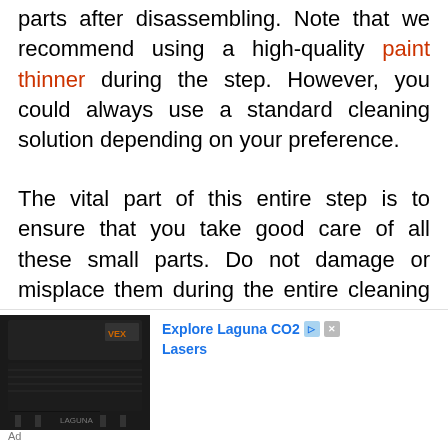parts after disassembling. Note that we recommend using a high-quality paint thinner during the step. However, you could always use a standard cleaning solution depending on your preference.
The vital part of this entire step is to ensure that you take good care of all these small parts. Do not damage or misplace them during the entire cleaning process. You
[Figure (photo): Advertisement showing a Laguna CO2 laser cutting machine (model LASEREX) in black, with text 'Explore Laguna CO2 Lasers' in blue and an Ad label below.]